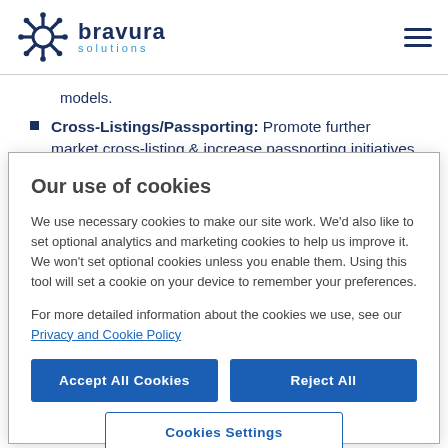[Figure (logo): Bravura Solutions logo with gear icon, blue text 'bravura' and teal 'solutions' text, with hamburger menu icon on the right]
models.
Cross-Listings/Passporting: Promote further market cross-listing & increase passporting initiatives to broaden
Our use of cookies
We use necessary cookies to make our site work. We'd also like to set optional analytics and marketing cookies to help us improve it. We won't set optional cookies unless you enable them. Using this tool will set a cookie on your device to remember your preferences.
For more detailed information about the cookies we use, see our Privacy and Cookie Policy
Accept All Cookies | Reject All | Cookies Settings